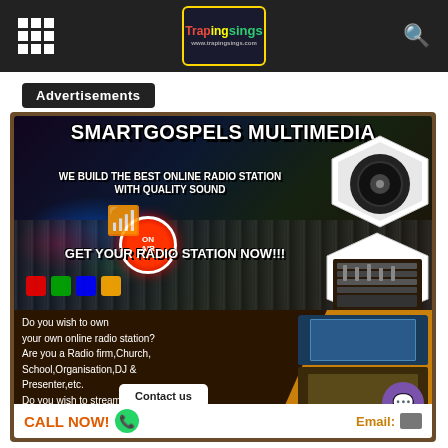TrapingSings navigation bar with grid menu icon, logo, and search icon
Advertisements
[Figure (infographic): SmartGospels Multimedia advertisement: 'SMARTGOSPELS MULTIMEDIA — WE BUILD THE BEST ONLINE RADIO STATION WITH QUALITY SOUND — GET YOUR RADIO STATION NOW!!! — Do you wish to own your own online radio station? Are you a Radio firm, Church, School, Organisation, DJ & Presenter, etc. Do you wish to stream/broadcast services online across the globe? CALL NOW! Email: Contact us']